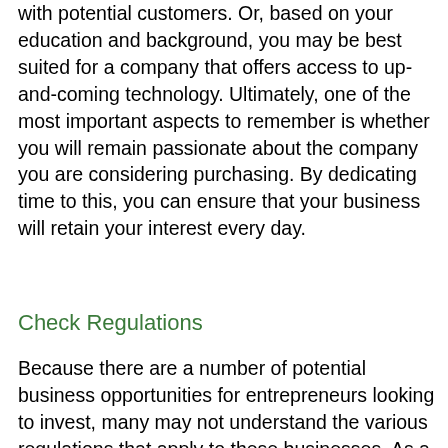with potential customers. Or, based on your education and background, you may be best suited for a company that offers access to up-and-coming technology. Ultimately, one of the most important aspects to remember is whether you will remain passionate about the company you are considering purchasing. By dedicating time to this, you can ensure that your business will retain your interest every day.
Check Regulations
Because there are a number of potential business opportunities for entrepreneurs looking to invest, many may not understand the various regulations that apply to these businesses. As a result, it is essential that you check regulations such as HIPAA and other relevant standards that the...